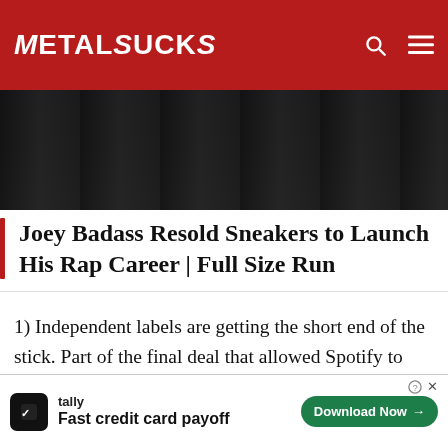METALSUCKS
[Figure (photo): Hero image showing a person, partially visible at top of article]
Joey Badass Resold Sneakers to Launch His Rap Career | Full Size Run
1) Independent labels are getting the short end of the stick. Part of the final deal that allowed Spotify to finally come to the U.S. after years of negotiations involved all four major label groups getting a share of Spotify’s profit. I can’t remember where I read this, but I believe that the four companies have a combined 20-25% stake in Spotify’s U.S. profits. They also all received… as part of the deal.
[Figure (screenshot): Tally app advertisement banner: Fast credit card payoff, Download Now button]